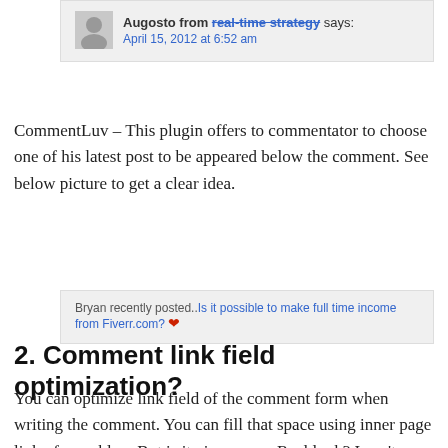[Figure (screenshot): Comment box showing 'Augosto from real-time strategy says:' with date April 15, 2012 at 6:52 am, with avatar/profile image placeholder]
CommentLuv – This plugin offers to commentator to choose one of his latest post to be appeared below the comment. See below picture to get a clear idea.
[Figure (screenshot): CommentLuv plugin display showing: 'Bryan recently posted..Is it possible to make full time income from Fiverr.com? [heart icon]']
2. Comment link field optimization?
You can optimize link field of the comment form when writing the comment. You can fill that space using inner page link of your blog, But is it gives you a Real look? I can't say exactly No!. But it erase